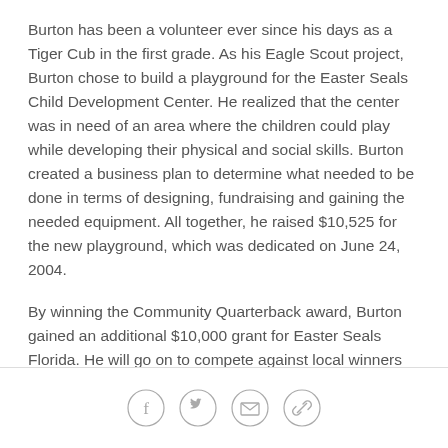Burton has been a volunteer ever since his days as a Tiger Cub in the first grade. As his Eagle Scout project, Burton chose to build a playground for the Easter Seals Child Development Center. He realized that the center was in need of an area where the children could play while developing their physical and social skills. Burton created a business plan to determine what needed to be done in terms of designing, fundraising and gaining the needed equipment. All together, he raised $10,525 for the new playground, which was dedicated on June 24, 2004.
By winning the Community Quarterback award, Burton gained an additional $10,000 grant for Easter Seals Florida. He will go on to compete against local winners from the other 31 NFL teams for the national
[Figure (infographic): Four circular social sharing icons: Facebook (f), Twitter (bird), Email (envelope), Link/share (chain link)]